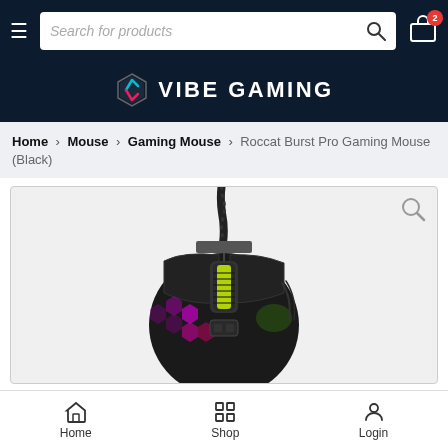Search for products | Cart (2)
[Figure (logo): Vibe Gaming logo with hexagon icon in teal/pink and white text 'VIBE GAMING' on dark navy background]
Home › Mouse › Gaming Mouse › Roccat Burst Pro Gaming Mouse (Black)
[Figure (photo): Top-down view of Roccat Burst Pro Gaming Mouse in black, showing RGB lighting with pink/magenta hexagonal pattern and yellow-green scroll wheel illumination, with braided USB cable at top]
Home  Shop  Login